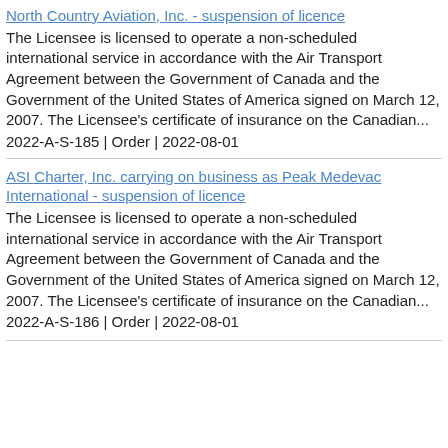North Country Aviation, Inc. - suspension of licence
The Licensee is licensed to operate a non-scheduled international service in accordance with the Air Transport Agreement between the Government of Canada and the Government of the United States of America signed on March 12, 2007. The Licensee's certificate of insurance on the Canadian...
2022-A-S-185 | Order | 2022-08-01
ASI Charter, Inc. carrying on business as Peak Medevac International - suspension of licence
The Licensee is licensed to operate a non-scheduled international service in accordance with the Air Transport Agreement between the Government of Canada and the Government of the United States of America signed on March 12, 2007. The Licensee's certificate of insurance on the Canadian...
2022-A-S-186 | Order | 2022-08-01